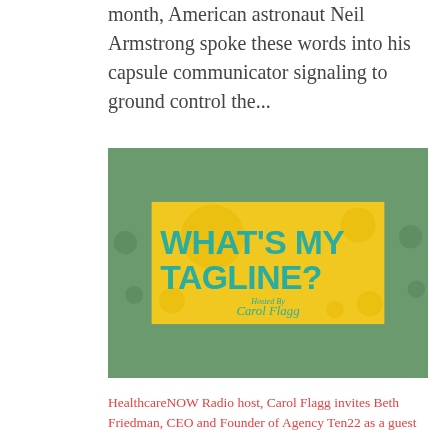month, American astronaut Neil Armstrong spoke these words into his capsule communicator signaling to ground control the...
[Figure (illustration): Podcast cover art with green background and yellow inner panel. Large teal bold text reads 'WHAT'S MY TAGLINE?' with cursive text 'Hosted By Carol Flagg' below.]
HealthcareNOW Radio host, Carol Flagg invites Beth Friedman, CEO and Founder of Agency Ten22 as a guest